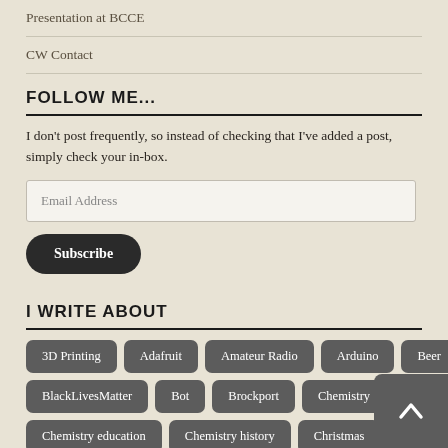Presentation at BCCE
CW Contact
FOLLOW ME...
I don't post frequently, so instead of checking that I've added a post, simply check your in-box.
Email Address
Subscribe
I WRITE ABOUT
3D Printing
Adafruit
Amateur Radio
Arduino
Beer
BlackLivesMatter
Bot
Brockport
Chemistry
Chemistry education
Chemistry history
Christmas
Cla